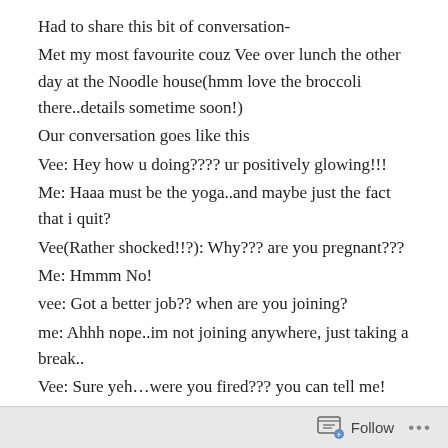Had to share this bit of conversation-
Met my most favourite couz Vee over lunch the other day at the Noodle house(hmm love the broccoli there..details sometime soon!)
Our conversation goes like this
Vee: Hey how u doing???? ur positively glowing!!!
Me: Haaa must be the yoga..and maybe just the fact that i quit?
Vee(Rather shocked!!?): Why??? are you pregnant???
Me: Hmmm No!
vee: Got a better job?? when are you joining?
me: Ahhh nope..im not joining anywhere, just taking a break..
Vee: Sure yeh…were you fired??? you can tell me!
Me: Uh nooooo!!!
Vee: Are you @#$%^&% MAD???
Me: Aaaaahmmm maybe..but i feel great
Follow ...